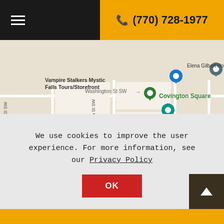(770) 728-1977
[Figure (map): Google Maps view of Covington, GA showing landmarks: Vampire Stalkers Mystic Falls Tours/Storefront, Mystic Grill, Elena Gilbert House, Covington Square, Covington Visitors Center, Covington First United Methodist Church, with streets Washington St SW, Brown St SW, Emory St SW, Davis St, East St, Conyers St SE, S St SW, S St SW]
We use cookies to improve the user experience. For more information, see our Privacy Policy
OK